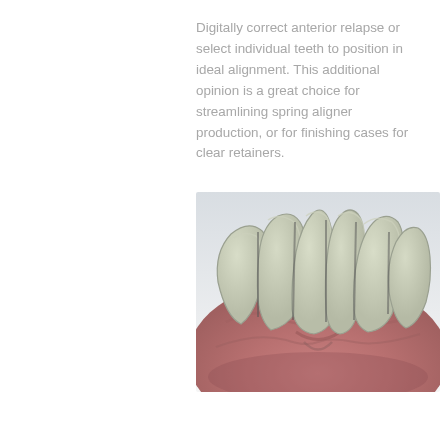Digitally correct anterior relapse or select individual teeth to position in ideal alignment. This additional opinion is a great choice for streamlining spring aligner production, or for finishing cases for clear retainers.
[Figure (illustration): 3D render of dental model showing upper anterior teeth (incisors and canines) in greenish-white color embedded in pink gum tissue, viewed from below/front angle]